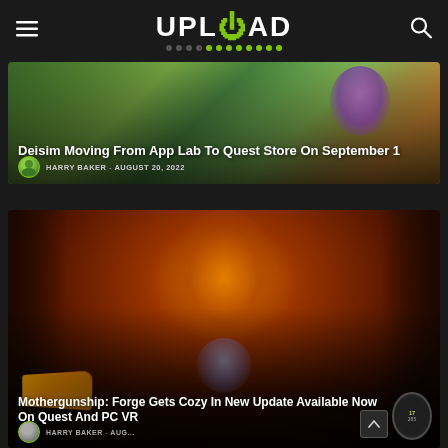UPLOAD
[Figure (screenshot): Article thumbnail for 'Deisim Moving From App Lab To Quest Store On September 1' — colorful fantasy game screenshot with purple creature and green landscape]
Deisim Moving From App Lab To Quest Store On September 1
HARRY BAKER - AUGUST 20, 2022
[Figure (screenshot): Article thumbnail for 'Mothergunship: Forge Gets Cozy In New Update Available Now On Quest And PC VR' — dark sci-fi shooter game screenshot with insect-like enemy in orange-lit corridor]
Mothergunship: Forge Gets Cozy In New Update Available Now On Quest And PC VR
HARRY BAKER - AUGUST 20, 2022